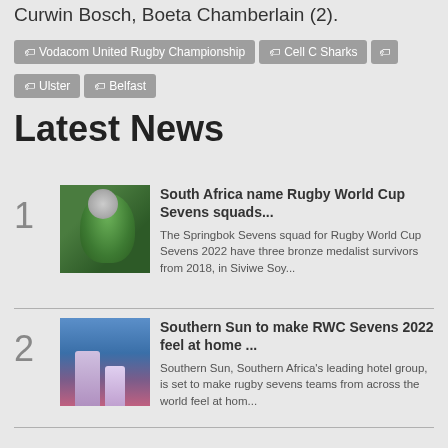Curwin Bosch, Boeta Chamberlain (2).
Vodacom United Rugby Championship
Cell C Sharks
Ulster
Belfast
Latest News
[Figure (photo): Rugby player in green Springbok Sevens jersey holding a ball]
South Africa name Rugby World Cup Sevens squads...
The Springbok Sevens squad for Rugby World Cup Sevens 2022 have three bronze medalist survivors from 2018, in Siviwe Soy...
[Figure (photo): Aerial night view of city buildings with purple and blue tones]
Southern Sun to make RWC Sevens 2022 feel at home ...
Southern Sun, Southern Africa's leading hotel group, is set to make rugby sevens teams from across the world feel at hom...